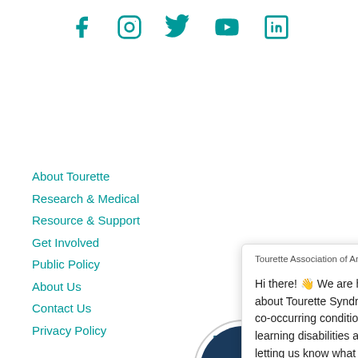[Figure (infographic): Social media icons row: Facebook, Instagram, Twitter, YouTube, LinkedIn — all in teal color]
About Tourette
Research & Medical
Resource & Support
Get Involved
Public Policy
About Us
Contact Us
Privacy Policy
Tourette Association of America from...
Hi there! 👋 We are here to help you learn more about Tourette Syndrome, Tic Disorders, and the co-occurring conditions such as OCD, ADHD, learning disabilities and more. The first step is letting us know what you are looking for!
Stay up to date on all Tourette Association of America Updates and News